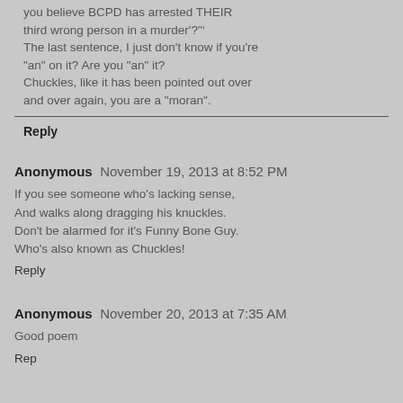you believe BCPD has arrested THEIR third wrong person in a murder'?"'
The last sentence, I just don't know if you're "an" on it? Are you "an" it?
Chuckles, like it has been pointed out over and over again, you are a "moran".
Reply
Anonymous  November 19, 2013 at 8:52 PM
If you see someone who's lacking sense,
And walks along dragging his knuckles.
Don't be alarmed for it's Funny Bone Guy.
Who's also known as Chuckles!
Reply
Anonymous  November 20, 2013 at 7:35 AM
Good poem
Reply